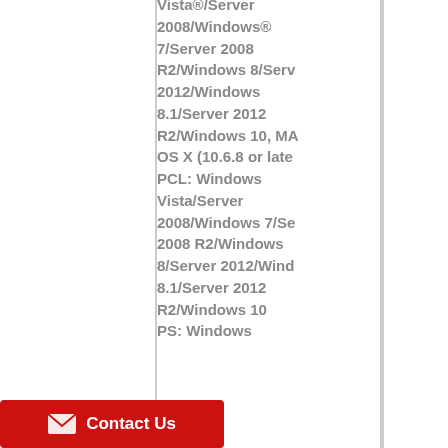|  |  |
| --- | --- |
|  | Vista®/Server 2008/Windows® 7/Server 2008 R2/Windows 8/Server 2012/Windows 8.1/Server 2012 R2/Windows 10, MAC OS X (10.6.8 or later) PCL: Windows Vista/Server 2008/Windows 7/Server 2008 R2/Windows 8/Server 2012/Windows 8.1/Server 2012 R2/Windows 10 PS: Windows |
| OPERATING SYSTEM10 |  |